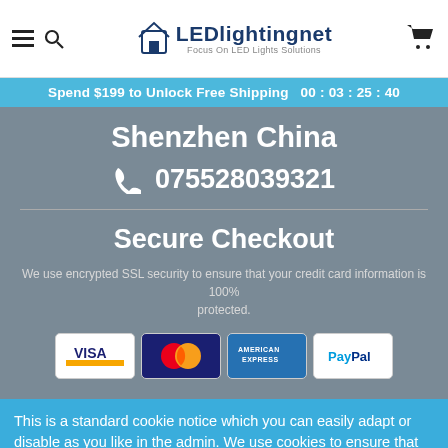LEDlightingnet — Focus On LED Lights Solutions
Spend $199 to Unlock Free Shipping  00 : 03 : 25 : 40
Shenzhen China
075528039321
Secure Checkout
We use encrypted SSL security to ensure that your credit card information is 100% protected.
[Figure (other): Payment method logos: VISA, Mastercard, American Express, PayPal]
This is a standard cookie notice which you can easily adapt or disable as you like in the admin. We use cookies to ensure that we give you the best experience on our website.
Privacy Policy  Accept